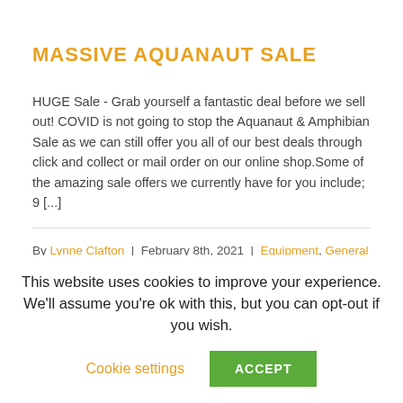MASSIVE AQUANAUT SALE
HUGE Sale - Grab yourself a fantastic deal before we sell out! COVID is not going to stop the Aquanaut & Amphibian Sale as we can still offer you all of our best deals through click and collect or mail order on our online shop.Some of the amazing sale offers we currently have for you include; 9 [...]
By Lynne Clafton  |  February 8th, 2021  |  Equipment, General Stuff  |  0 Comments
Read More >
This website uses cookies to improve your experience. We'll assume you're ok with this, but you can opt-out if you wish.
Cookie settings   ACCEPT